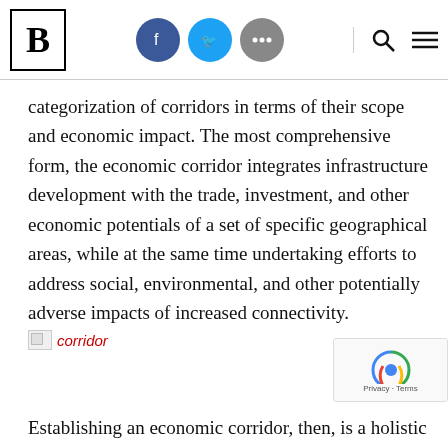B [logo] | [facebook] [twitter] [...] | [search] [menu]
categorization of corridors in terms of their scope and economic impact. The most comprehensive form, the economic corridor integrates infrastructure development with the trade, investment, and other economic potentials of a set of specific geographical areas, while at the same time undertaking efforts to address social, environmental, and other potentially adverse impacts of increased connectivity.
[Figure (other): Broken image placeholder with red italic label 'corridor']
Establishing an economic corridor, then, is a holistic